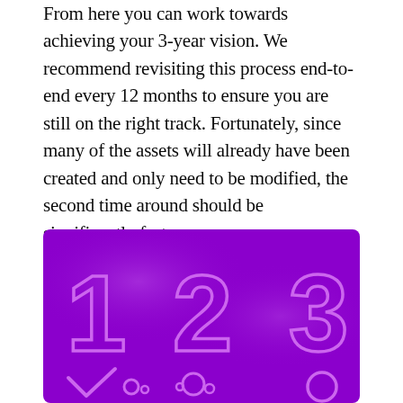From here you can work towards achieving your 3-year vision. We recommend revisiting this process end-to-end every 12 months to ensure you are still on the right track. Fortunately, since many of the assets will already have been created and only need to be modified, the second time around should be significantly faster.
[Figure (illustration): Purple background graphic showing large outlined numbers 1, 2, 3 with checkmark and circle icons below them on a vivid purple/violet background with soft radial glow highlights.]